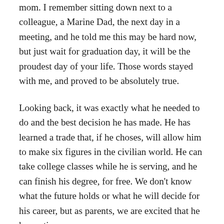mom. I remember sitting down next to a colleague, a Marine Dad, the next day in a meeting, and he told me this may be hard now, but just wait for graduation day, it will be the proudest day of your life. Those words stayed with me, and proved to be absolutely true.
Looking back, it was exactly what he needed to do and the best decision he has made. He has learned a trade that, if he choses, will allow him to make six figures in the civilian world. He can take college classes while he is serving, and he can finish his degree, for free. We don't know what the future holds or what he will decide for his career, but as parents, we are excited that he has options.
I share our story with you in this blog and podcast simply for other parents to see that college is not the only option or even the right one for every high school